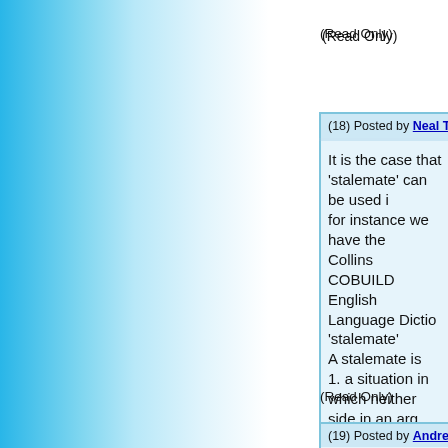(Read Only)
(18) Posted by Neal Turner [Tuesday, Nov 10, 2020 2...
It is the case that 'stalemate' can be used i... for instance we have the Collins COBUILD English Language Dictio... 'stalemate' A stalemate is 1. a situation in which neither side in an arg... can win or gain any advantage. 2. a position in chess... Although it's definitely strange that somebo... the general sense when describing a situa... chessboard!
(Read Only)
(19) Posted by Andrew Buchanan [Wednesday, Nov...